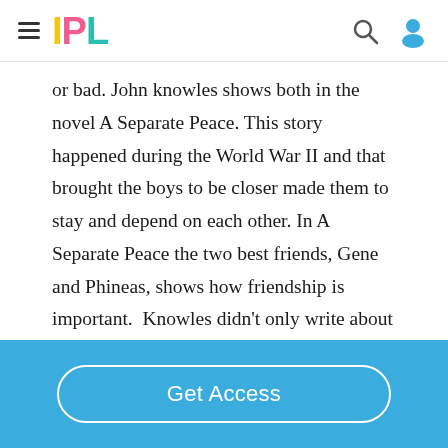IPL
or bad. John knowles shows both in the novel A Separate Peace. This story happened during the World War II and that brought the boys to be closer made them to stay and depend on each other. In A Separate Peace the two best friends, Gene and Phineas, shows how friendship is important.  Knowles didn't only write about friendship, he also wrote about
Get Access